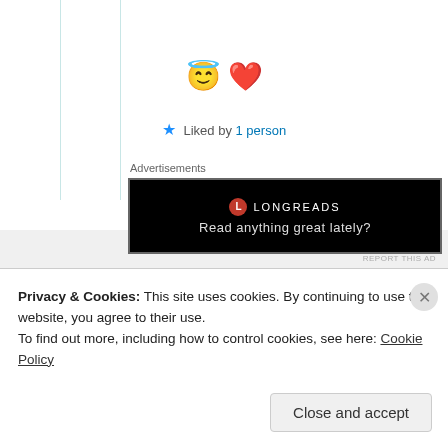[Figure (illustration): Angel face emoji and red heart emoji]
★ Liked by 1 person
Advertisements
[Figure (other): Longreads advertisement banner: 'Read anything great lately?']
REPORT THIS AD
Michele Lee
25th Jun 2021 at 6:20 pm
Privacy & Cookies: This site uses cookies. By continuing to use this website, you agree to their use.
To find out more, including how to control cookies, see here: Cookie Policy
Close and accept